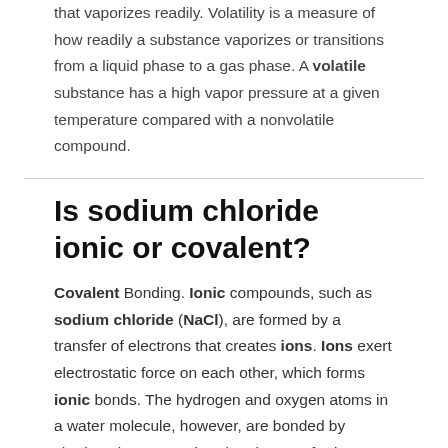that vaporizes readily. Volatility is a measure of how readily a substance vaporizes or transitions from a liquid phase to a gas phase. A volatile substance has a high vapor pressure at a given temperature compared with a nonvolatile compound.
Is sodium chloride ionic or covalent?
Covalent Bonding. Ionic compounds, such as sodium chloride (NaCl), are formed by a transfer of electrons that creates ions. Ions exert electrostatic force on each other, which forms ionic bonds. The hydrogen and oxygen atoms in a water molecule, however, are bonded by sharing electrons rather than by transferring them.